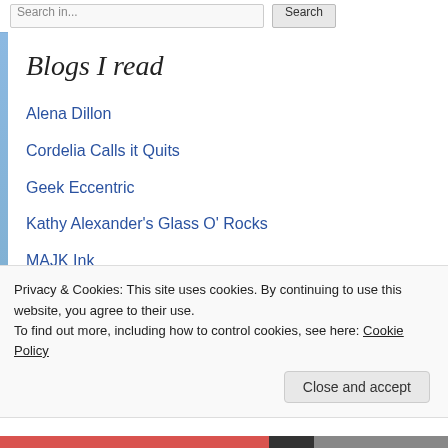Search in... Search
Blogs I read
Alena Dillon
Cordelia Calls it Quits
Geek Eccentric
Kathy Alexander's Glass O' Rocks
MAJK Ink
Matt Dicks
N. Apythia Morges
Privacy & Cookies: This site uses cookies. By continuing to use this website, you agree to their use.
To find out more, including how to control cookies, see here: Cookie Policy
Close and accept